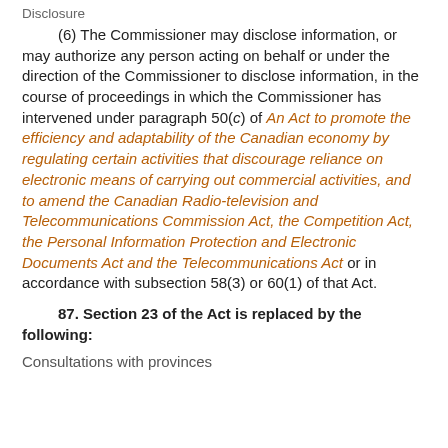Disclosure
(6) The Commissioner may disclose information, or may authorize any person acting on behalf or under the direction of the Commissioner to disclose information, in the course of proceedings in which the Commissioner has intervened under paragraph 50(c) of An Act to promote the efficiency and adaptability of the Canadian economy by regulating certain activities that discourage reliance on electronic means of carrying out commercial activities, and to amend the Canadian Radio-television and Telecommunications Commission Act, the Competition Act, the Personal Information Protection and Electronic Documents Act and the Telecommunications Act or in accordance with subsection 58(3) or 60(1) of that Act.
87. Section 23 of the Act is replaced by the following:
Consultations with provinces